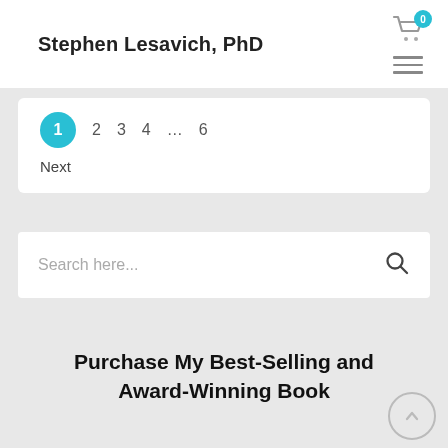Stephen Lesavich, PhD
1  2  3  4  ...  6  Next
Search here...
Purchase My Best-Selling and Award-Winning Book